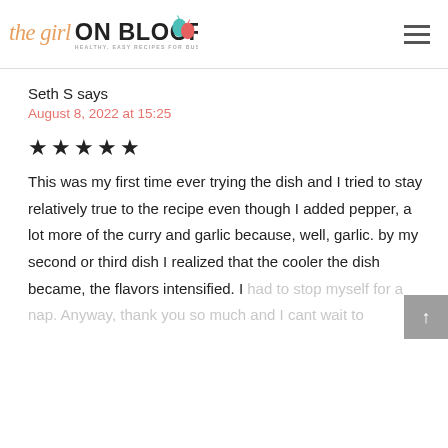the girl ON BLOOR — HEALTHY, EASY RECIPES FOR BUSY PEOPLE!
Seth S says
August 8, 2022 at 15:25
[Figure (other): Five filled star rating icons]
This was my first time ever trying the dish and I tried to stay relatively true to the recipe even though I added pepper, a lot more of the curry and garlic because, well, garlic. by my second or third dish I realized that the cooler the dish became, the flavors intensified. I had to stop myself for a nap. Anyway, thank you so much and I cant wait to